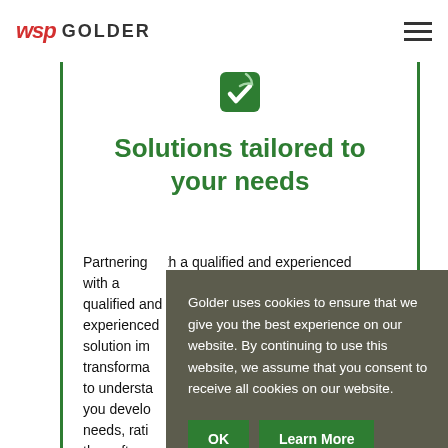WSP GOLDER
[Figure (logo): WSP Golder logo with red italic WSP and dark GOLDER text, plus hamburger menu icon on the right]
[Figure (illustration): Green icon showing a leaf/checkmark shield badge]
Solutions tailored to your needs
Partnering with a qualified and experienced solution implementer during your digital transformation is critical. We take the time to understand your business challenges to help you develop solutions that serve your real needs, rather than trying to make you fit the software.
You can re... understanding... custom-fitted... technology...
Golder uses cookies to ensure that we give you the best experience on our website. By continuing to use this website, we assume that you consent to receive all cookies on our website.